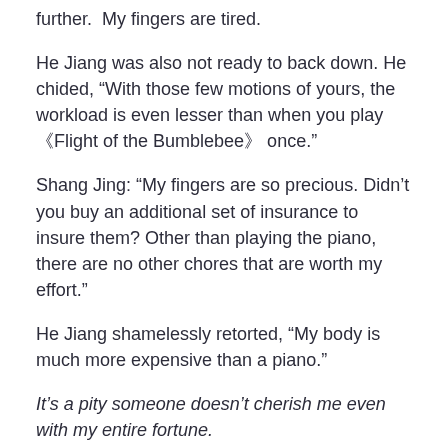further.  My fingers are tired.
He Jiang was also not ready to back down. He chided, “With those few motions of yours, the workload is even lesser than when you play 《Flight of the Bumblebee》 once.”
Shang Jing: “My fingers are so precious. Didn’t you buy an additional set of insurance to insure them? Other than playing the piano, there are no other chores that are worth my effort.”
He Jiang shamelessly retorted, “My body is much more expensive than a piano.”
It’s a pity someone doesn’t cherish me even with my entire fortune.
Shang Jing: “Don’t try to take advantage of me!”